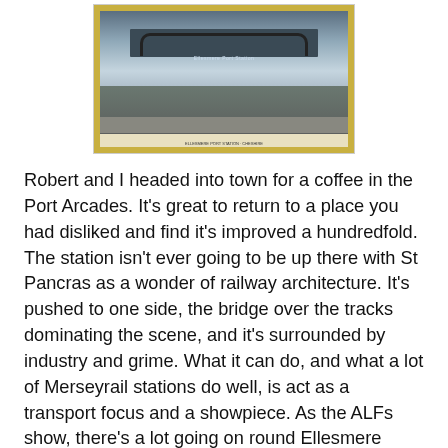[Figure (photo): A framed historical photograph or poster of Ellesmere Port station area, showing a bridge over railway tracks, with a yellow/gold frame border and a caption bar at the bottom.]
Robert and I headed into town for a coffee in the Port Arcades.  It's great to return to a place you had disliked and find it's improved a hundredfold.  The station isn't ever going to be up there with St Pancras as a wonder of railway architecture.  It's pushed to one side, the bridge over the tracks dominating the scene, and it's surrounded by industry and grime.  What it can do, and what a lot of Merseyrail stations do well, is act as a transport focus and a showpiece.  As the ALFs show, there's a lot going on round Ellesmere Port, and it would be great if the station's regeneration was symbolic of the town itself looking up.  Perhaps there'll be posters advertising four trains an hour on this route soon; perhaps, one day, we'll get that extension to Helsby.  I'm not holding my breath, but the works here show that tiny steps are always possible.